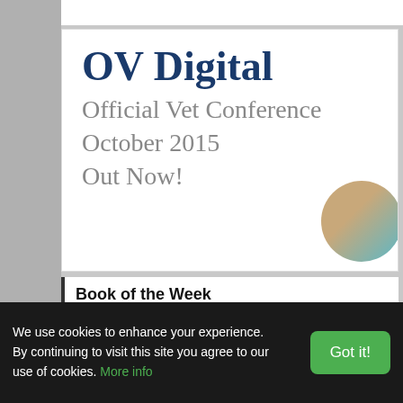OV Digital
Official Vet Conference
October 2015
Out Now!
Book of the Week
[Figure (photo): Photo of sheep crowded together in a pen, facing the camera]
Livestock Handling and Tra...
Edited by world-renowned ani... integrates scientific research a... sheep, goats, deer, and horse...
We use cookies to enhance your experience. By continuing to visit this site you agree to our use of cookies. More info